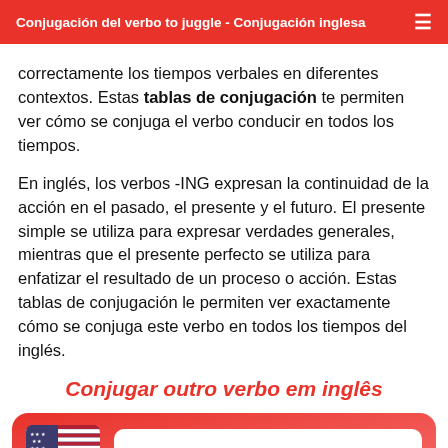Conjugación del verbo to juggle - Conjugación inglesa
correctamente los tiempos verbales en diferentes contextos. Estas tablas de conjugación te permiten ver cómo se conjuga el verbo conducir en todos los tiempos.
En inglés, los verbos -ING expresan la continuidad de la acción en el pasado, el presente y el futuro. El presente simple se utiliza para expresar verdades generales, mientras que el presente perfecto se utiliza para enfatizar el resultado de un proceso o acción. Estas tablas de conjugación le permiten ver exactamente cómo se conjuga este verbo en todos los tiempos del inglés.
Conjugar outro verbo em inglês
[Figure (infographic): A rounded red gradient box containing a US/UK flag icon on the left and a white input field on the right with placeholder text 'Ex. (Be, Go, Make, Drive, Sing']